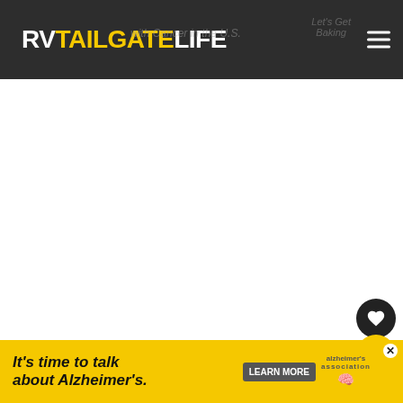RVTAILGATELIFE
[Figure (screenshot): Large white advertisement/content area placeholder below the header]
[Figure (infographic): Sidebar with heart icon (like button), count of 1, and share icon on yellow background]
[Figure (infographic): What's Next banner in yellow with RV thumbnail image and Shop text]
For non-season ticket holders, including visiting fans, your best bet for tailgating and parking is...
[Figure (infographic): Bottom ad banner: It's time to talk about Alzheimer's. with Learn More button and Alzheimer's Association logo]